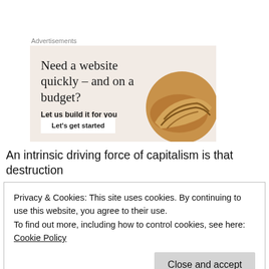Advertisements
[Figure (illustration): Advertisement banner with beige background showing text 'Need a website quickly – and on a budget? Let us build it for you' with a croissant image and 'Let's get started' button]
An intrinsic driving force of capitalism is that destruction
Privacy & Cookies: This site uses cookies. By continuing to use this website, you agree to their use.
To find out more, including how to control cookies, see here: Cookie Policy
Close and accept
and cities are destroyed.